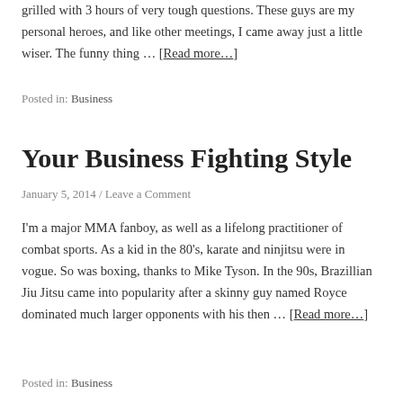grilled with 3 hours of very tough questions. These guys are my personal heroes, and like other meetings, I came away just a little wiser. The funny thing … [Read more…]
Posted in: Business
Your Business Fighting Style
January 5, 2014 / Leave a Comment
I'm a major MMA fanboy, as well as a lifelong practitioner of combat sports. As a kid in the 80's, karate and ninjitsu were in vogue. So was boxing, thanks to Mike Tyson. In the 90s, Brazillian Jiu Jitsu came into popularity after a skinny guy named Royce dominated much larger opponents with his then … [Read more…]
Posted in: Business